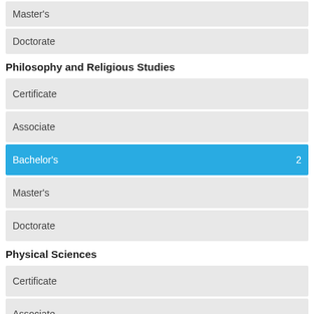Master's
Doctorate
Philosophy and Religious Studies
Certificate
Associate
Bachelor's 2
Master's
Doctorate
Physical Sciences
Certificate
Associate
Bachelor's 1
Master's
Doctorate